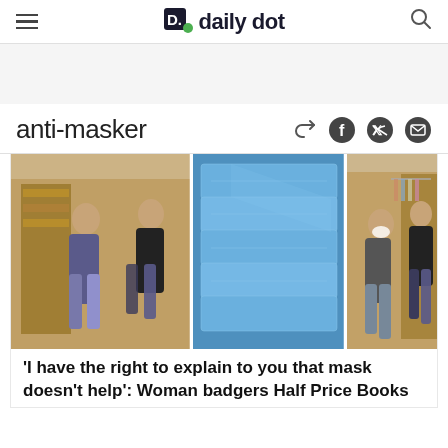daily dot
anti-masker
[Figure (photo): Three-panel composite photo: left panel shows a woman and a store employee talking in a bookstore aisle, center panel shows stacks of blue packaged face masks, right panel shows the same woman and employee from a different angle in the bookstore.]
'I have the right to explain to you that mask doesn't help': Woman badgers Half Price Books